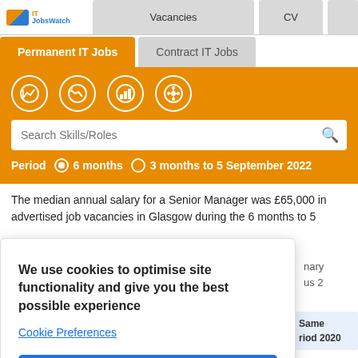ITJobsWatch — Vacancies, CV
Permanent IT Jobs | Contract IT Jobs
[Figure (screenshot): Orange navigation panel with four icon buttons, a Search Skills/Roles input, and a Period selector with options '6 months' (selected) and '3 months to 5 September 2022']
The median annual salary for a Senior Manager was £65,000 in advertised job vacancies in Glasgow during the 6 months to 5
We use cookies to optimise site functionality and give you the best possible experience
Cookie Preferences
Accept
Same
riod 2020